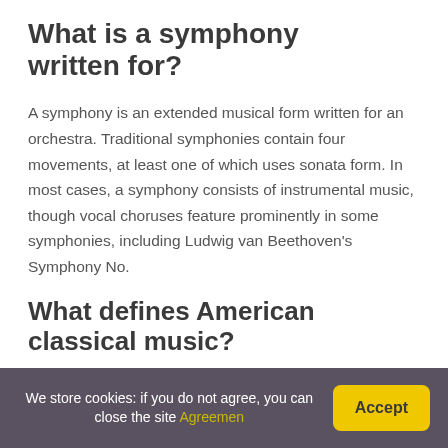What is a symphony written for?
A symphony is an extended musical form written for an orchestra. Traditional symphonies contain four movements, at least one of which uses sonata form. In most cases, a symphony consists of instrumental music, though vocal choruses feature prominently in some symphonies, including Ludwig van Beethoven’s Symphony No.
What defines American classical music?
We store cookies: if you do not agree, you can close the site Agreemen | Accept